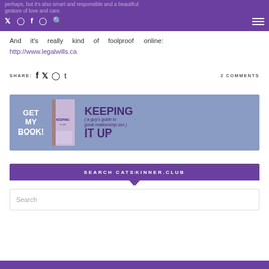perhaps, but it's also smart and responsible and a beautiful gesture of love and care.
And it's really kind of foolproof online: http://www.legalwills.ca
SHARE: [social icons] 2 COMMENTS
[Figure (illustration): Book advertisement banner: GET MY BOOK! - KEEPING IT UP - a guy's guide to great relationship sex]
SEARCH CATSKINNER.CLUB
Search